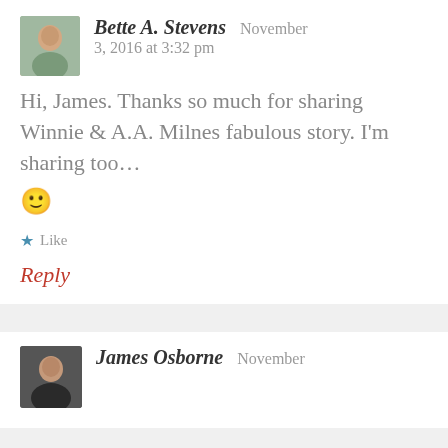Bette A. Stevens — November 3, 2016 at 3:32 pm
Hi, James. Thanks so much for sharing Winnie & A.A. Milnes fabulous story. I'm sharing too... 🙂
★ Like
Reply
James Osborne — November